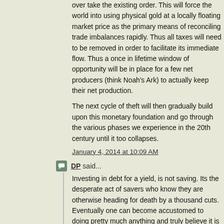over take the existing order. This will force the world into using physical gold at a locally floating market price as the primary means of reconciling trade imbalances rapidly. Thus all taxes will need to be removed in order to facilitate its immediate flow. Thus a once in lifetime window of opportunity will be in place for a few net producers (think Noah's Ark) to actually keep their net production.
The next cycle of theft will then gradually build upon this monetary foundation and go through the various phases we experience in the 20th century until it too collapses.
January 4, 2014 at 10:09 AM
DP said...
Investing in debt for a yield, is not saving. Its the desperate act of savers who know they are otherwise heading for death by a thousand cuts. Eventually one can become accustomed to doing pretty much anything and truly believe it is normal and natural. Everybody's doing it.
January 4, 2014 at 10:31 AM
Indenture said...
InowB4: Right On! "Paper does not earn interest. Leasing